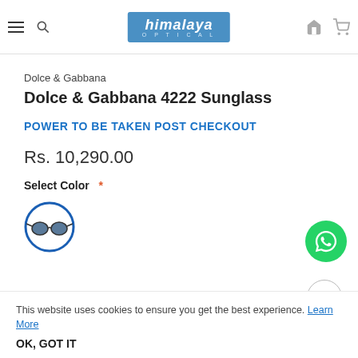Himalaya Optical
Dolce & Gabbana
Dolce & Gabbana 4222 Sunglass
POWER TO BE TAKEN POST CHECKOUT
Rs. 10,290.00
Select Color *
[Figure (illustration): Sunglasses icon with blue circular border, selected color swatch]
This website uses cookies to ensure you get the best experience. Learn More
OK, GOT IT